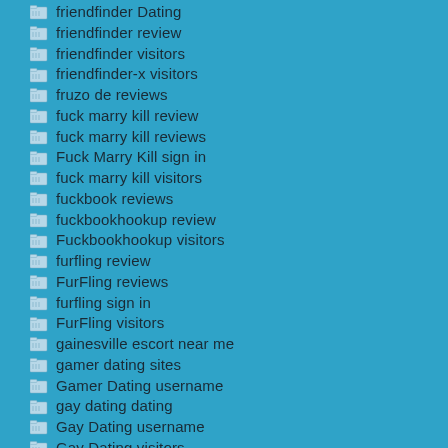friendfinder Dating
friendfinder review
friendfinder visitors
friendfinder-x visitors
fruzo de reviews
fuck marry kill review
fuck marry kill reviews
Fuck Marry Kill sign in
fuck marry kill visitors
fuckbook reviews
fuckbookhookup review
Fuckbookhookup visitors
furfling review
FurFling reviews
furfling sign in
FurFling visitors
gainesville escort near me
gamer dating sites
Gamer Dating username
gay dating dating
Gay Dating username
Gay Dating visitors
gay hookup apps hookuphotties